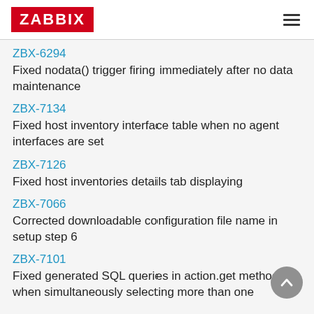ZABBIX
ZBX-6294
Fixed nodata() trigger firing immediately after no data maintenance
ZBX-7134
Fixed host inventory interface table when no agent interfaces are set
ZBX-7126
Fixed host inventories details tab displaying
ZBX-7066
Corrected downloadable configuration file name in setup step 6
ZBX-7101
Fixed generated SQL queries in action.get method when simultaneously selecting more than one